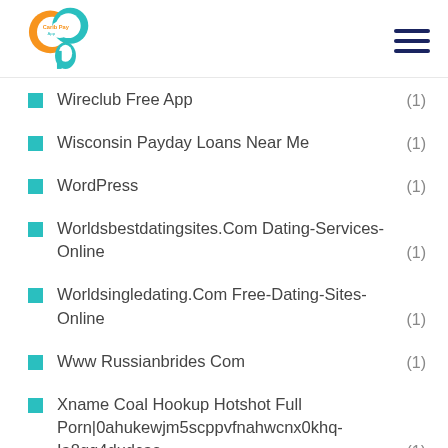Carib Pay App
Wireclub Free App (1)
Wisconsin Payday Loans Near Me (1)
WordPress (1)
Worldsbestdatingsites.Com Dating-Services-Online (1)
Worldsingledating.Com Free-Dating-Sites-Online (1)
Www Russianbrides Com (1)
Xname Coal Hookup Hotshot Full Porn|0ahukewjm5scppvfnahwcnx0khq-Ia8gq4dudcas (1)
Zoosk Dating (1)